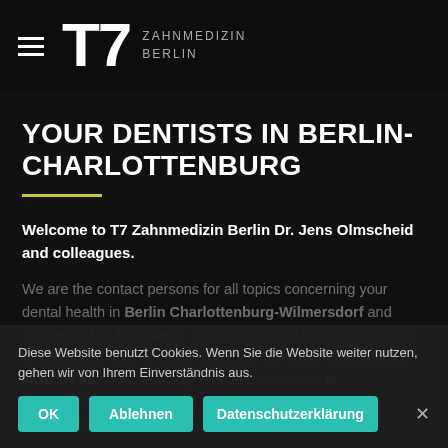[Figure (logo): T7 Zahnmedizin Berlin logo with hamburger menu icon, large T7 text and ZAHNMEDIZIN BERLIN wordmark]
YOUR DENTISTS IN BERLIN-CHARLOTTENBURG
Welcome to T7 Zahnmedizin Berlin Dr. Jens Olmscheid and colleagues.
We are the contact persons for all topics concerning your dental health in Berlin Charlottenburg-Wilmersdorf and Tempelhof-Schöneberg. Our experienced dental team offers an extensive offer of dental services. Our treatment portfolio includes aesthetic dentistry, dental prosthetics, professional tooth cleaning, periodontology, root canal treatment,
Diese Website benutzt Cookies. Wenn Sie die Website weiter nutzen, gehen wir von Ihrem Einverständnis aus.